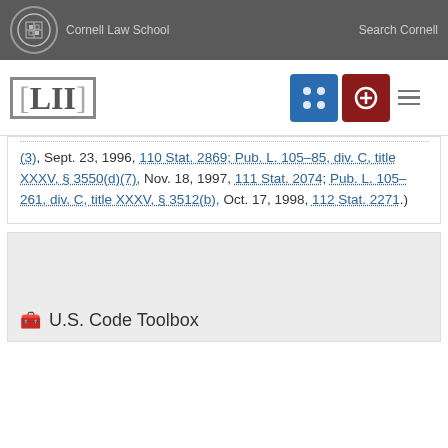Cornell Law School | Search Cornell
[Figure (logo): LII Legal Information Institute logo with navigation icons]
(3), Sept. 23, 1996, 110 Stat. 2869; Pub. L. 105–85, div. C, title XXXV, §3550(d)(7), Nov. 18, 1997, 111 Stat. 2074; Pub. L. 105–261, div. C, title XXXV, §3512(b), Oct. 17, 1998, 112 Stat. 2271.)
U.S. Code Toolbox